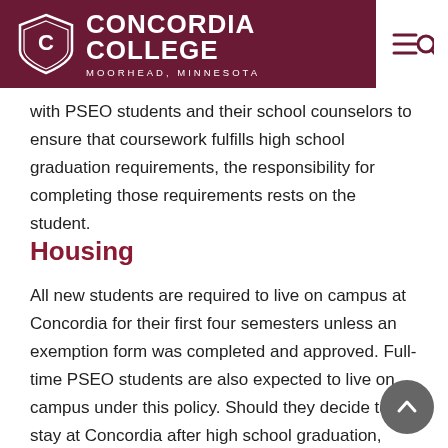CONCORDIA COLLEGE MOORHEAD, MINNESOTA
with PSEO students and their school counselors to ensure that coursework fulfills high school graduation requirements, the responsibility for completing those requirements rests on the student.
Housing
All new students are required to live on campus at Concordia for their first four semesters unless an exemption form was completed and approved. Full-time PSEO students are also expected to live on campus under this policy. Should they decide to stay at Concordia after high school graduation, their year of living on campus as a PSEO student will count toward their four semesters. Once students are accepted at Concordia, making a $300 deposit (prepayment of room